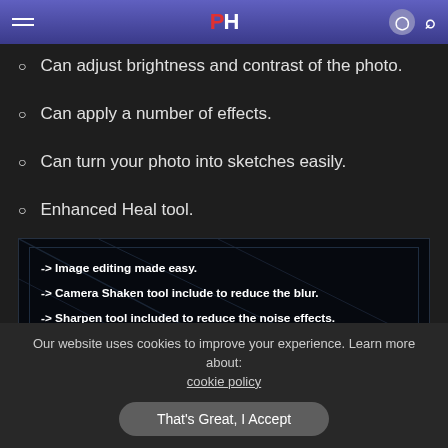PH [logo with navigation icons]
Can adjust brightness and contrast of the photo.
Can apply a number of effects.
Can turn your photo into sketches easily.
Enhanced Heal tool.
[Figure (screenshot): Dark themed box with diagonal decorative lines containing bold white text listing software features: -> Image editing made easy. -> Camera Shaken tool include to reduce the blur. -> Sharpen tool included to reduce the noise effects. -> Can extract a desired object from the photo with Lasso tool. -> Can adjust brightness and contrast of the photo. -> Can apply a number of effects.]
Our website uses cookies to improve your experience. Learn more about: cookie policy
That's Great, I Accept